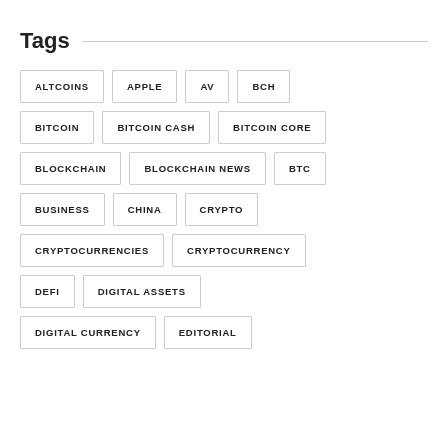Tags
ALTCOINS
APPLE
AV
BCH
BITCOIN
BITCOIN CASH
BITCOIN CORE
BLOCKCHAIN
BLOCKCHAIN NEWS
BTC
BUSINESS
CHINA
CRYPTO
CRYPTOCURRENCIES
CRYPTOCURRENCY
DEFI
DIGITAL ASSETS
DIGITAL CURRENCY
EDITORIAL